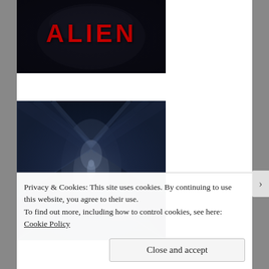[Figure (photo): Movie poster or screenshot showing the word ALIEN in large red letters on a dark/black background with a sci-fi alien creature visible in the background]
[Figure (photo): Dark sci-fi corridor from the Alien movie, showing a long industrial corridor with a person visible in the middle distance, atmospheric blue-grey lighting]
Privacy & Cookies: This site uses cookies. By continuing to use this website, you agree to their use.
To find out more, including how to control cookies, see here: Cookie Policy
Close and accept